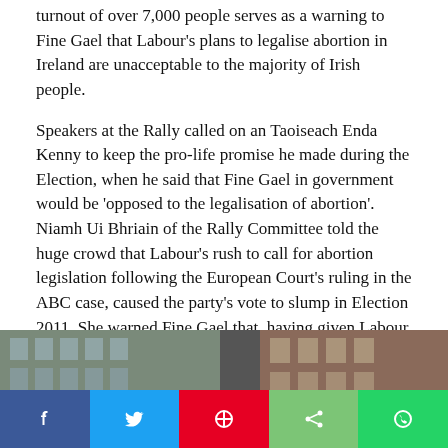turnout of over 7,000 people serves as a warning to Fine Gael that Labour's plans to legalise abortion in Ireland are unacceptable to the majority of Irish people.
Speakers at the Rally called on an Taoiseach Enda Kenny to keep the pro-life promise he made during the Election, when he said that Fine Gael in government would be 'opposed to the legalisation of abortion'. Niamh Ui Bhriain of the Rally Committee told the huge crowd that Labour's rush to call for abortion legislation following the European Court's ruling in the ABC case, caused the party's vote to slump in Election 2011. She warned Fine Gael that, having given Labour at seat at government, they now had an obligation to the electorate to ensure that abortion would not be legalised in Ireland.
[Figure (photo): Photograph of a street with brick buildings, partially visible; a reCAPTCHA logo visible in bottom right corner]